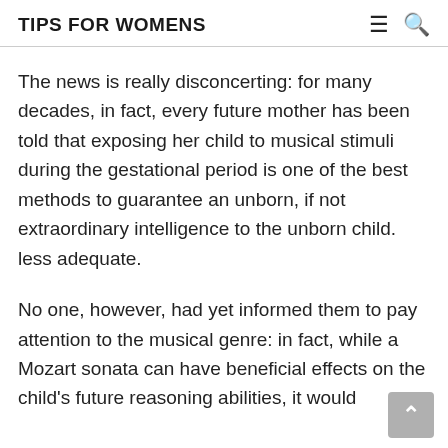TIPS FOR WOMENS
The news is really disconcerting: for many decades, in fact, every future mother has been told that exposing her child to musical stimuli during the gestational period is one of the best methods to guarantee an unborn, if not extraordinary intelligence to the unborn child. less adequate.
No one, however, had yet informed them to pay attention to the musical genre: in fact, while a Mozart sonata can have beneficial effects on the child's future reasoning abilities, it would